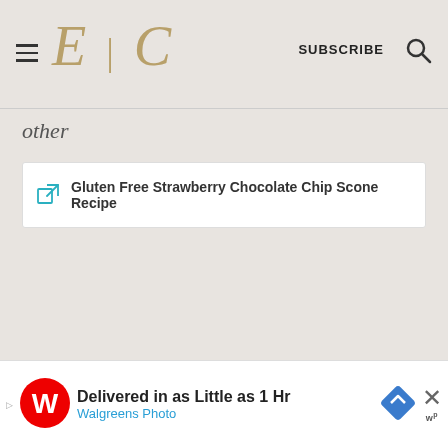E | C  SUBSCRIBE
other
Gluten Free Strawberry Chocolate Chip Scone Recipe
[Figure (other): Walgreens advertisement: Delivered in as Little as 1 Hr — Walgreens Photo]